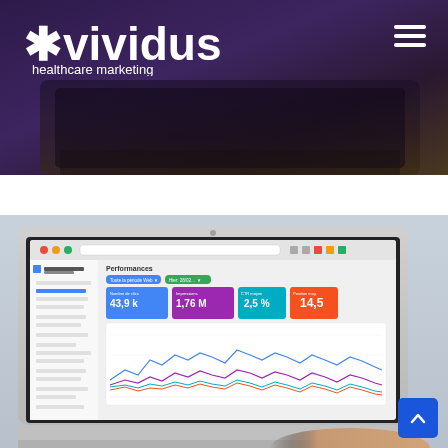[Figure (screenshot): Top dark-toned photo of a laptop partially visible, overlaid with purple/dark translucent header band]
[Figure (logo): Vividus healthcare marketing logo: asterisk star followed by 'vividus' in bold white, 'healthcare marketing' subtitle below]
[Figure (screenshot): Photo of a laptop showing Google Search Console performance dashboard with metrics: 43.9k clicks, 1.76M impressions, 2.5% CTR, and a position value around 14.5, with a line chart beneath]